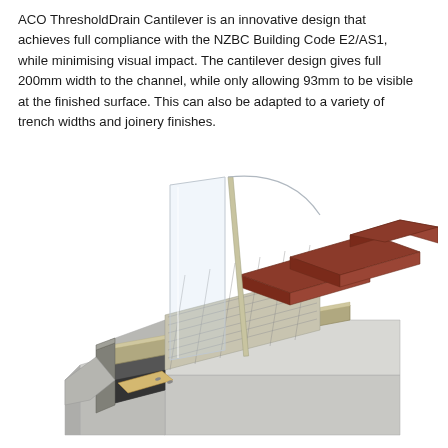ACO ThresholdDrain Cantilever is an innovative design that achieves full compliance with the NZBC Building Code E2/AS1, while minimising visual impact. The cantilever design gives full 200mm width to the channel, while only allowing 93mm to be visible at the finished surface. This can also be adapted to a variety of trench widths and joinery finishes.
[Figure (engineering-diagram): 3D cutaway isometric illustration of the ACO ThresholdDrain Cantilever showing a glass panel, metal grating channel, red/brown paving bricks on the right side, concrete base structure, drainage channel below with wooden/metal components, and cross-section of the cantilever threshold drain assembly.]